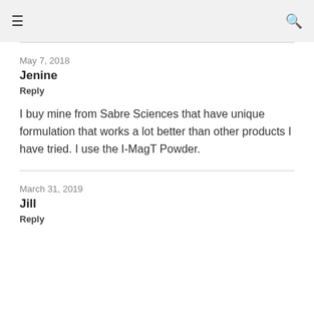≡  🔍
May 7, 2018
Jenine
Reply
I buy mine from Sabre Sciences that have unique formulation that works a lot better than other products I have tried. I use the I-MagT Powder.
March 31, 2019
Jill
Reply